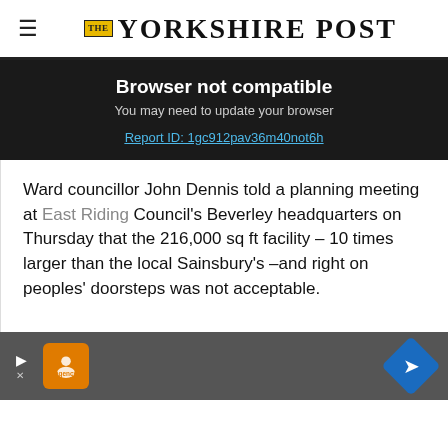THE YORKSHIRE POST
Browser not compatible
You may need to update your browser
Report ID: 1gc912pav36m40not6h
Ward councillor John Dennis told a planning meeting at East Riding Council's Beverley headquarters on Thursday that the 216,000 sq ft facility – 10 times larger than the local Sainsbury's –and right on peoples' doorsteps was not acceptable.
[Figure (other): Advertisement banner at the bottom with orange logo icon and blue diamond navigation icon on grey background]